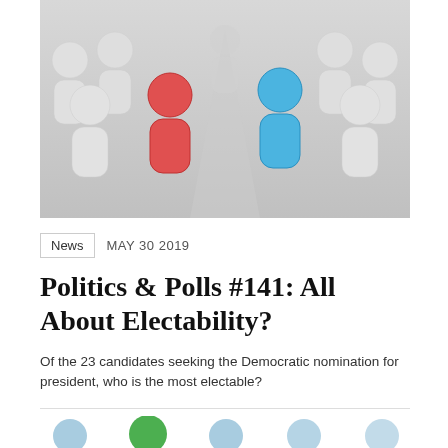[Figure (photo): 3D render of white figurine chess-piece-like shapes arranged in a curved formation, with one red figure on the left and one blue figure on the right facing each other, on a gray surface.]
News   MAY 30 2019
Politics & Polls #141: All About Electability?
Of the 23 candidates seeking the Democratic nomination for president, who is the most electable?
[Figure (illustration): Row of five person/people silhouette icons in light blue, with the second figure highlighted in green, representing a selected or notable candidate among a group.]